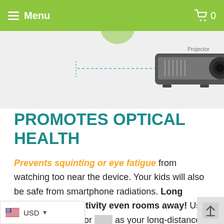Menu  0
[Figure (illustration): A projector illustration with a dashed line indicating projection distance, labeled 'Projector', on a light grey background.]
PROMOTES OPTICAL HEALTH
Prevents squinting or eye fatigue from watching too near the device. Your kids will also be safe from smartphone radiations. Long Distance connectivity even rooms away! Use your smartphone or [device] as your long-distance